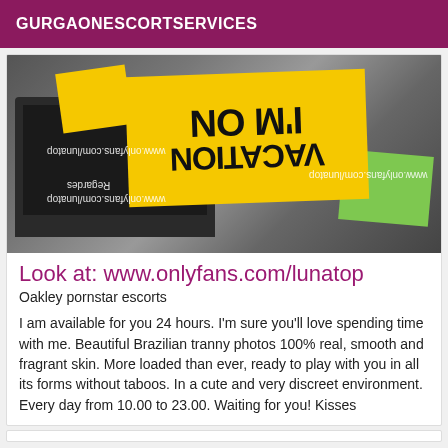GURGAONESCORTSERVICES
[Figure (photo): Photo of a laptop with a yellow sticky note sign showing mirrored text 'I'M ON VACATION' with watermark text www.onlyfans.com/lunatop repeated multiple times. Green sticky note visible at bottom right.]
Look at: www.onlyfans.com/lunatop
Oakley pornstar escorts
I am available for you 24 hours. I'm sure you'll love spending time with me. Beautiful Brazilian tranny photos 100% real, smooth and fragrant skin. More loaded than ever, ready to play with you in all its forms without taboos. In a cute and very discreet environment. Every day from 10.00 to 23.00. Waiting for you! Kisses